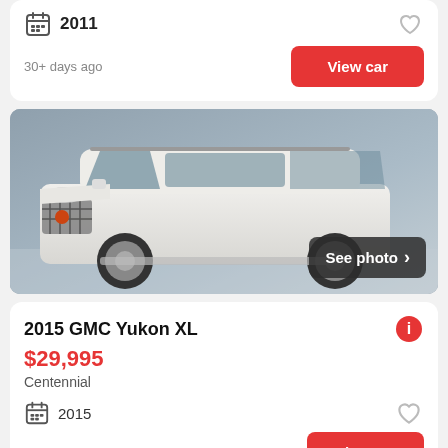2011
30+ days ago
View car
[Figure (photo): White 2015 GMC Yukon XL SUV photographed in a studio with a gray background. A 'See photo >' overlay button appears in the bottom right corner of the image.]
2015 GMC Yukon XL
$29,995
Centennial
2015
30+ days ago
View car